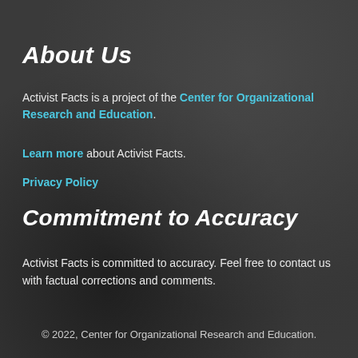About Us
Activist Facts is a project of the Center for Organizational Research and Education.
Learn more about Activist Facts.
Privacy Policy
Commitment to Accuracy
Activist Facts is committed to accuracy. Feel free to contact us with factual corrections and comments.
© 2022, Center for Organizational Research and Education.